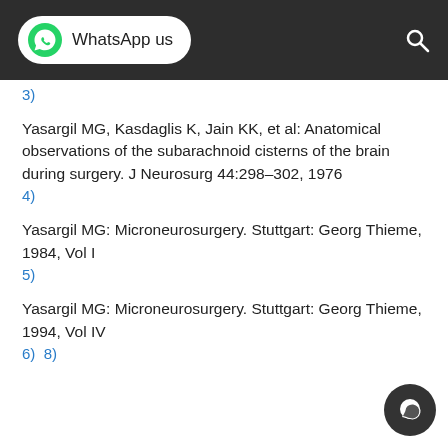WhatsApp us
3)
Yasargil MG, Kasdaglis K, Jain KK, et al: Anatomical observations of the subarachnoid cisterns of the brain during surgery. J Neurosurg 44:298–302, 1976
4)
Yasargil MG: Microneurosurgery. Stuttgart: Georg Thieme, 1984, Vol I
5)
Yasargil MG: Microneurosurgery. Stuttgart: Georg Thieme, 1994, Vol IV
6)  8)